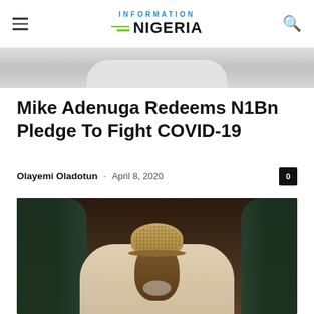Information Nigeria
[Figure (photo): Partial photograph showing a person in light-colored clothing, cropped at top of page]
Mike Adenuga Redeems N1Bn Pledge To Fight COVID-19
Olayemi Oladotun · April 8, 2020
[Figure (photo): Photograph of a man wearing a traditional Nigerian cap (fula) and embroidered outfit, seated in a dark green leather chair]